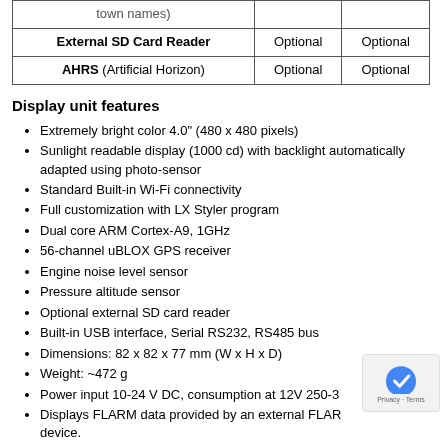|  |  |  |
| --- | --- | --- |
| town names) |  |  |
| External SD Card Reader | Optional | Optional |
| AHRS (Artificial Horizon) | Optional | Optional |
Display unit features
Extremely bright color 4.0" (480 x 480 pixels)
Sunlight readable display (1000 cd) with backlight automatically adapted using photo-sensor
Standard Built-in Wi-Fi connectivity
Full customization with LX Styler program
Dual core ARM Cortex-A9, 1GHz
56-channel uBLOX GPS receiver
Engine noise level sensor
Pressure altitude sensor
Optional external SD card reader
Built-in USB interface, Serial RS232, RS485 bus
Dimensions: 82 x 82 x 77 mm (W x H x D)
Weight: ~472 g
Power input 10-24 V DC, consumption at 12V 250-3
Displays FLARM data provided by an external FLARM device.